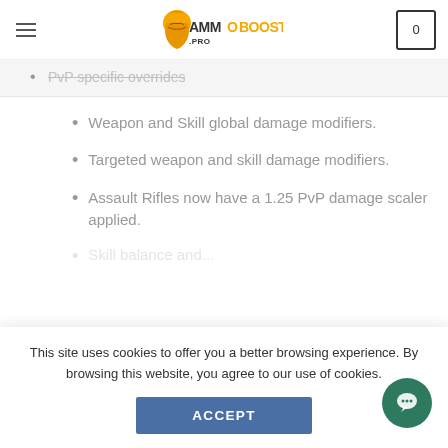MMOBOOST.PRO navigation header with hamburger menu and cart icon
PvP specific overrides
Weapon and Skill global damage modifiers.
Targeted weapon and skill damage modifiers.
Assault Rifles now have a 1.25 PvP damage scaler applied.
This site uses cookies to offer you a better browsing experience. By browsing this website, you agree to our use of cookies.
ACCEPT